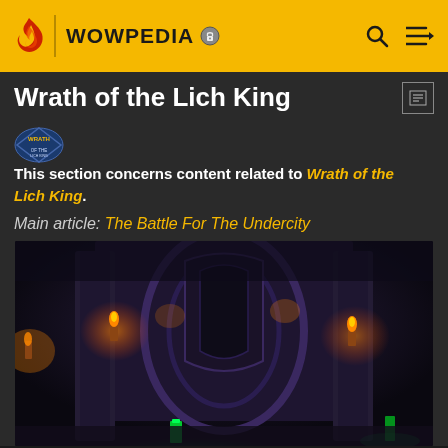WOWPEDIA
Wrath of the Lich King
This section concerns content related to Wrath of the Lich King.
Main article: The Battle For The Undercity
[Figure (screenshot): In-game screenshot from World of Warcraft: Wrath of the Lich King showing a dark dungeon interior with gothic stone columns, purple-lit chambers, torches, and green glowing elements on the floor.]
[Figure (other): Best Buy advertisement banner: 'Experience amazing.' with Sony branding, blue gradient background.]